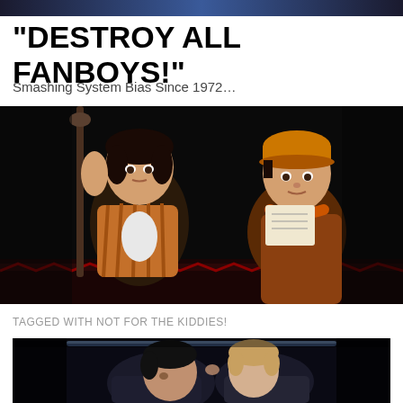"DESTROY ALL FANBOYS!"
Smashing System Bias Since 1972...
[Figure (screenshot): Video game screenshot showing two 3D characters: a young man in a striped shirt holding a staff on the left, and a young person in an orange hat and scarf holding papers on the right, set in a dark environment]
TAGGED WITH NOT FOR THE KIDDIES!
[Figure (screenshot): Screenshot showing two characters leaning their heads together closely, one with dark hair in dark clothing and one with lighter hair, in a dark sci-fi setting]